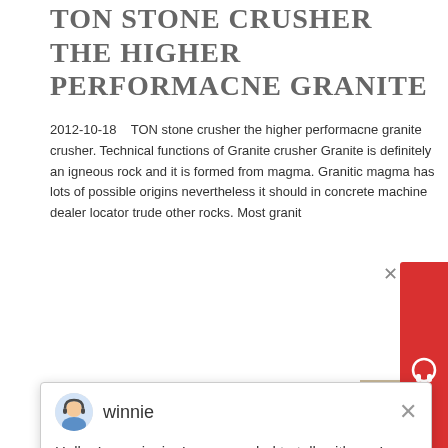TON STONE CRUSHER THE HIGHER PERFORMACNE GRANITE
2012-10-18   TON stone crusher the higher performacne granite crusher. Technical functions of Granite crusher Granite is definitely an igneous rock and it is formed from magma. Granitic magma has lots of possible origins nevertheless it should in concrete machine dealer locator trude other rocks. Most grани
[Figure (screenshot): Chat support overlay with avatar of 'winnie' and message: Hello, I am winnie, I am very glad to talk with you!]
[Figure (photo): Stone crusher machinery on a construction/mining site, large industrial equipment with conveyor belts against a blue sky]
GLOBAL STONE CRUSHER MARKET 2021 BY MANUFACTURERS